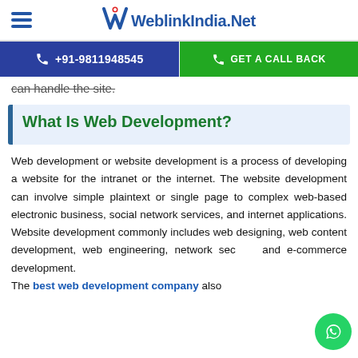WeblinkIndia.Net
+91-9811948545 | GET A CALL BACK
can handle the site.
What Is Web Development?
Web development or website development is a process of developing a website for the intranet or the internet. The website development can involve simple plaintext or single page to complex web-based electronic business, social network services, and internet applications. Website development commonly includes web designing, web content development, web engineering, network security and e-commerce development.
The best web development company also